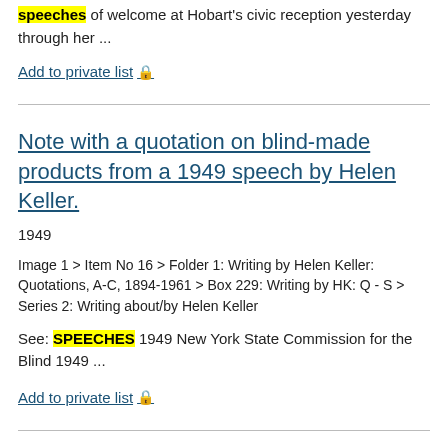speeches of welcome at Hobart's civic reception yesterday through her ...
Add to private list 🔒
Note with a quotation on blind-made products from a 1949 speech by Helen Keller.
1949
Image 1 > Item No 16 > Folder 1: Writing by Helen Keller: Quotations, A-C, 1894-1961 > Box 229: Writing by HK: Q - S > Series 2: Writing about/by Helen Keller
See: SPEECHES 1949 New York State Commission for the Blind 1949 ...
Add to private list 🔒
Note with a from Helen Keller's quotation on idleness from a speech before the Junior League.
October 18, 1949
Image 1 > Item No 26 > Folder 1: Writing by Helen Keller: Quotations, A-C, 1894-1961 > Box 229: Writing by HK: Q - S > Series 2: Writing about/by Helen